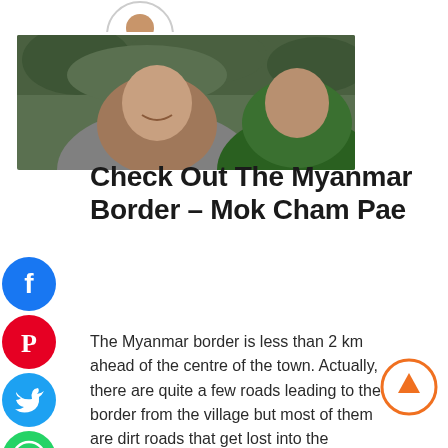[Figure (photo): Selfie photo of two people smiling outdoors with green foliage in background]
Check Out The Myanmar Border – Mok Cham Pae
The Myanmar border is less than 2 km ahead of the centre of the town. Actually, there are quite a few roads leading to the border from the village but most of them are dirt roads that get lost into the wilderness. A well maintained motorable road leads to Mok Cham Pae.